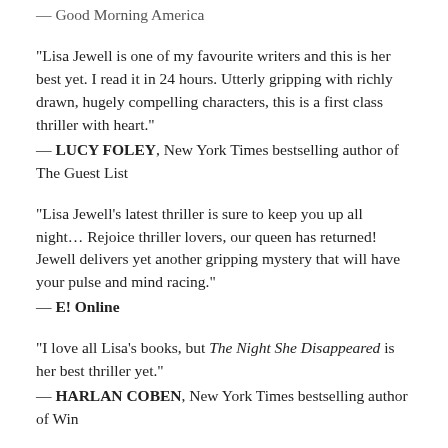— Good Morning America
“Lisa Jewell is one of my favourite writers and this is her best yet. I read it in 24 hours. Utterly gripping with richly drawn, hugely compelling characters, this is a first class thriller with heart.”
— LUCY FOLEY, New York Times bestselling author of The Guest List
“Lisa Jewell’s latest thriller is sure to keep you up all night... Rejoice thriller lovers, our queen has returned! Jewell delivers yet another gripping mystery that will have your pulse and mind racing.”
— E! Online
“I love all Lisa’s books, but The Night She Disappeared is her best thriller yet.”
— HARLAN COBEN, New York Times bestselling author of Win